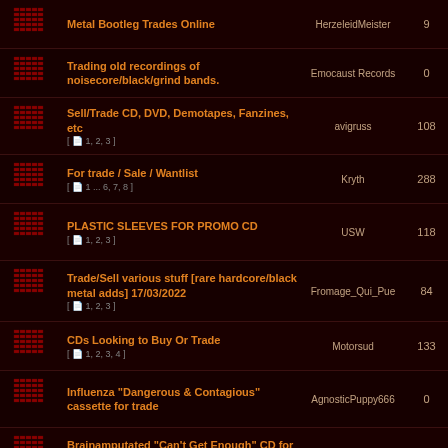| Icon | Topic | User | Posts | Views |
| --- | --- | --- | --- | --- |
| [icon] | Metal Bootleg Trades Online | HerzeleidMeister | 9 | 1186 |
| [icon] | Trading old recordings of noisecore/black/grind bands. | Emocaust Records | 0 | 67 |
| [icon] | Sell/Trade CD, DVD, Demotapes, Fanzines, etc [ 1, 2, 3 ] | avigruss | 108 | 35802 |
| [icon] | For trade / Sale / Wantlist [ 1 ... 6, 7, 8 ] | Kryth | 288 | 94748 |
| [icon] | PLASTIC SLEEVES FOR PROMO CD [ 1, 2, 3 ] | USW | 118 | 37426 |
| [icon] | Trade/Sell various stuff [rare hardcore/black metal adds] 17/03/2022 [ 1, 2, 3 ] | Fromage_Qui_Pue | 84 | 34698 |
| [icon] | CDs Looking to Buy Or Trade [ 1, 2, 3, 4 ] | Motorsud | 133 | 32441 |
| [icon] | Influenza "Dangerous & Contagious" cassette for trade | AgnosticPuppy666 | 0 | 159 |
| [icon] | Brainamputated "Can't Get Enough" CD for trade. | YAKISH | 16 | 3285 |
| [icon] | BLACK METAL Classics, Old-School & UG: Sorhin, Mysticum, Vergelmer, Evilfeast, Lustre, Hate Forest [ 1 ... 5, 6, 7 ] | Wolfhead | 244 | 196025 |